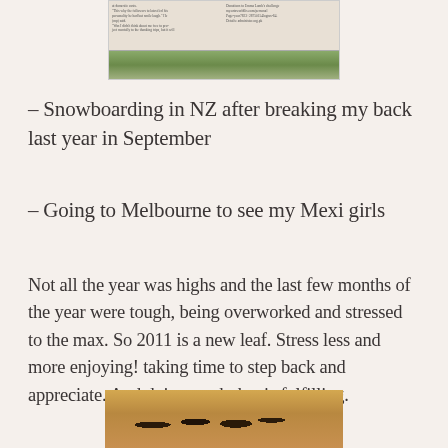[Figure (photo): A newspaper clipping with two columns of small text and a landscape photo at the bottom showing trees/greenery]
– Snowboarding in NZ after breaking my back last year in September
– Going to Melbourne to see my Mexi girls
Not all the year was highs and the last few months of the year were tough, being overworked and stressed to the max. So 2011 is a new leaf. Stress less and more enjoying! taking time to step back and appreciate. And doing work that is fulfilling.
[Figure (photo): A photo of several people, appearing to be children or young people, outdoors in a warm/African setting]